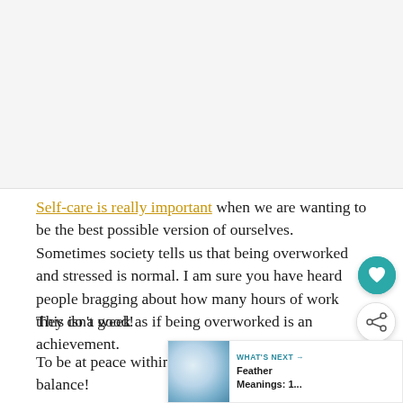[Figure (other): Advertisement or image placeholder area at the top of the page, light gray background]
Self-care is really important when we are wanting to be the best possible version of ourselves. Sometimes society tells us that being overworked and stressed is normal. I am sure you have heard people bragging about how many hours of work they do a week as if being overworked is an achievement.
This isn't good!
To be at peace within yourself, there must be balance!
[Figure (illustration): Circular teal/turquoise heart icon button floating on right side]
[Figure (illustration): Circular white share icon button floating on right side]
[Figure (screenshot): What's Next panel showing a feather/sky image thumbnail with text 'WHAT'S NEXT → Feather Meanings: 1...']